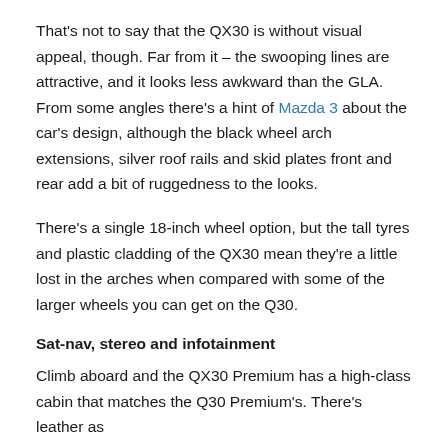That's not to say that the QX30 is without visual appeal, though. Far from it – the swooping lines are attractive, and it looks less awkward than the GLA. From some angles there's a hint of Mazda 3 about the car's design, although the black wheel arch extensions, silver roof rails and skid plates front and rear add a bit of ruggedness to the looks.
There's a single 18-inch wheel option, but the tall tyres and plastic cladding of the QX30 mean they're a little lost in the arches when compared with some of the larger wheels you can get on the Q30.
Sat-nav, stereo and infotainment
Climb aboard and the QX30 Premium has a high-class cabin that matches the Q30 Premium's. There's leather as